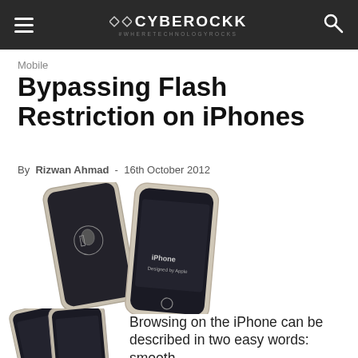CYBEROCKK — #WHERETECHNOLOGYROCKS
Mobile
Bypassing Flash Restriction on iPhones
By Rizwan Ahmad - 16th October 2012
[Figure (photo): Two iPhones shown from the back, slightly overlapping, with Apple logos visible]
[Figure (photo): Two iPhones partially visible at the bottom left corner]
Browsing on the iPhone can be described in two easy words: smooth